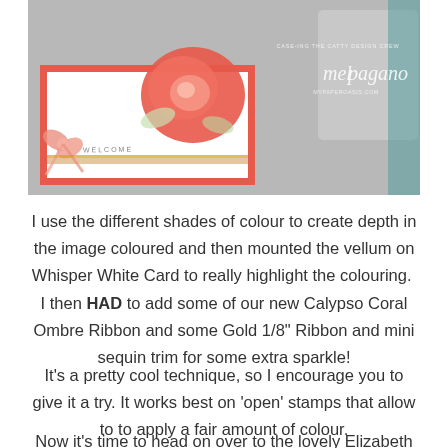[Figure (photo): A handmade greeting card with a coral/red rose image on vellum, mounted on Whisper White card, with Calypso Coral Ombre Ribbon bow and Gold 1/8" Ribbon and mini sequin trim. Watermark reads 'mel pagano' and 'mypaperoasis.com'. Card has a coral border and says WELCOME.]
I use the different shades of colour to create depth in the image coloured and then mounted the vellum on Whisper White Card to really highlight the colouring.  I then HAD to add some of our new Calypso Coral Ombre Ribbon and some Gold 1/8" Ribbon and mini sequin trim for some extra sparkle!
It's a pretty cool technique, so I encourage you to give it a try. It works best on 'open' stamps that allow to to apply a fair amount of colour.
Now it's time to head on over to the lovely Elizabeth and